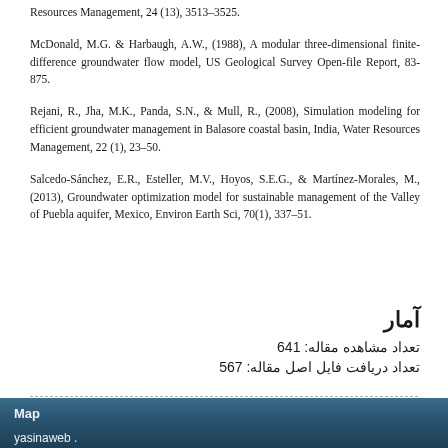Resources Management, 24 (13), 3513–3525.
McDonald, M.G. & Harbaugh, A.W., (1988), A modular three-dimensional finite-difference groundwater flow model, US Geological Survey Open-file Report, 83-875.
Rejani, R., Jha, M.K., Panda, S.N., & Mull, R., (2008), Simulation modeling for efficient groundwater management in Balasore coastal basin, India, Water Resources Management, 22 (1), 23–50.
Salcedo-Sánchez, E.R., Esteller, M.V., Hoyos, S.E.G., & Martínez-Morales, M., (2013), Groundwater optimization model for sustainable management of the Valley of Puebla aquifer, Mexico, Environ Earth Sci, 70(1), 337–51.
آمار
تعداد مشاهده مقاله: 641
تعداد دریافت فایل اصل مقاله: 567
Map
yasinaweb .